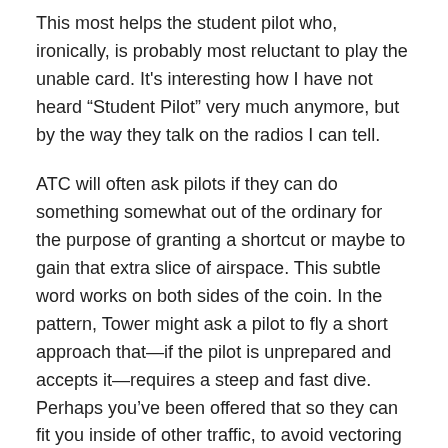This most helps the student pilot who, ironically, is probably most reluctant to play the unable card. It's interesting how I have not heard “Student Pilot” very much anymore, but by the way they talk on the radios I can tell.
ATC will often ask pilots if they can do something somewhat out of the ordinary for the purpose of granting a shortcut or maybe to gain that extra slice of airspace. This subtle word works on both sides of the coin. In the pattern, Tower might ask a pilot to fly a short approach that—if the pilot is unprepared and accepts it—requires a steep and fast dive. Perhaps you’ve been offered that so they can fit you inside of other traffic, to avoid vectoring you 10 miles out to get behind everyone. Or, perhaps they just need you to cross the approach end of the runway so they can start getting other airplanes out. Regardless, if you don’t think you can safely and properly comply, bring on the PIC authority and just say it, “Unable.”